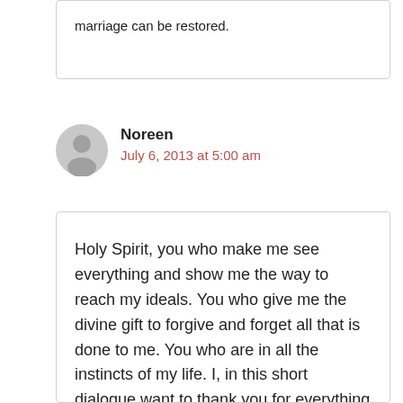marriage can be restored.
Noreen
July 6, 2013 at 5:00 am
Holy Spirit, you who make me see everything and show me the way to reach my ideals. You who give me the divine gift to forgive and forget all that is done to me. You who are in all the instincts of my life. I, in this short dialogue want to thank you for everything and affirm once more that I never want to be separated from